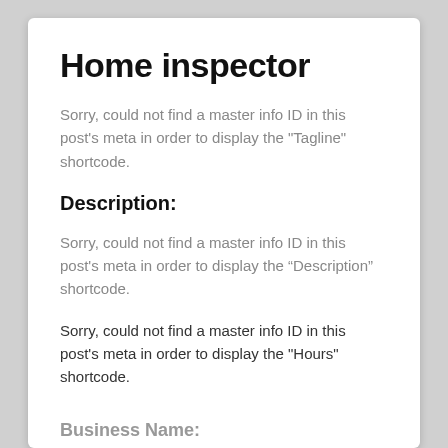Home inspector
Sorry, could not find a master info ID in this post's meta in order to display the "Tagline" shortcode.
Description:
Sorry, could not find a master info ID in this post's meta in order to display the “Description” shortcode.
Sorry, could not find a master info ID in this post's meta in order to display the "Hours" shortcode.
Business Name:
Sorry, could not find a master info ID in this